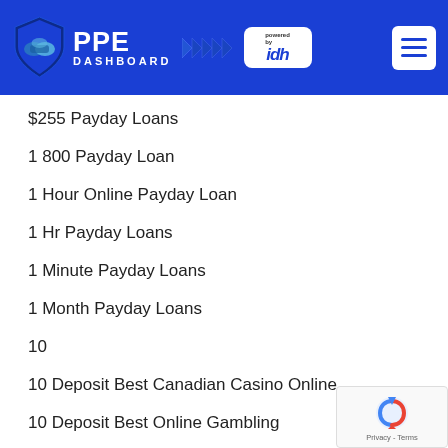PPE DASHBOARD powered by idh
$255 Payday Loans
1 800 Payday Loan
1 Hour Online Payday Loan
1 Hr Payday Loans
1 Minute Payday Loans
1 Month Payday Loans
10
10 Deposit Best Canadian Casino Online
10 Deposit Best Online Gambling